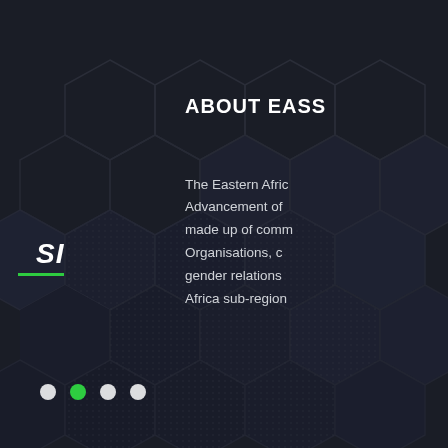[Figure (illustration): Dark background with hexagonal pattern texture in dark navy/charcoal tones]
ABOUT EASS
The Eastern Afric Advancement of made up of comm Organisations, c gender relations Africa sub-region
SI
Navigation dots: 4 dots, second one active (green)